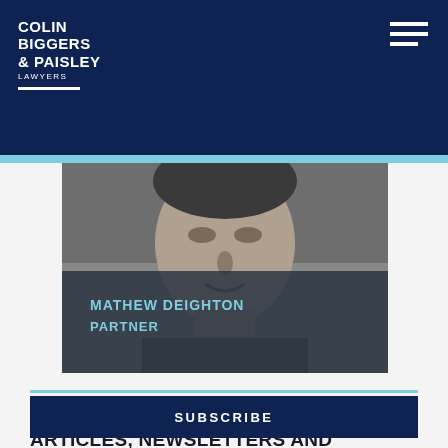COLIN BIGGERS & PAISLEY LAWYERS
[Figure (photo): Black and white portrait photo of Mathew Deighton with a dark overlay showing his name and title]
MATHEW DEIGHTON PARTNER
SIGN UP TO RECEIVE OUR LATEST ARTICLES, NEWSLETTERS AND INVITATIONS TO EVENTS.
SUBSCRIBE